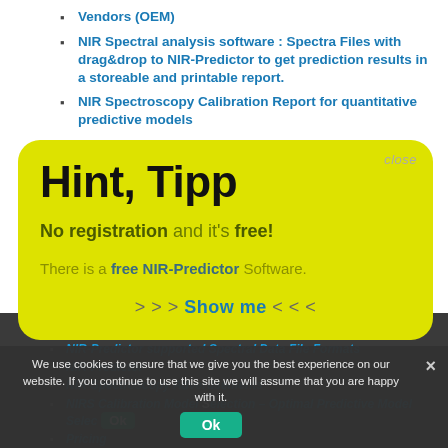Vendors (OEM)
NIR Spectral analysis software : Spectra Files with drag&drop to NIR-Predictor to get prediction results in a storeable and printable report.
NIR Spectroscopy Calibration Report for quantitative predictive models
NIR Spectroscopy Measurement Prediction
Hint, Tipp
No registration and it's free!
There is a free NIR-Predictor Software.
>>> Show me <<<
Demo Videos – How to use
NIR-Predictor supported Spectral Data File Formats
NIR-Predictor
NIR-Spectroscopy Advertisements
NIRS Calibration Model Selection – Optimal Predictive Model Selection
Pricing
We use cookies to ensure that we give you the best experience on our website. If you continue to use this site we will assume that you are happy with it.
Ok